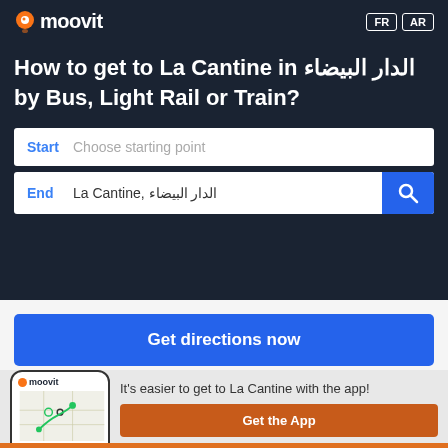[Figure (logo): Moovit logo with orange location pin icon and white text on dark navy background]
FR  AR
How to get to La Cantine in الدار البيضاء by Bus, Light Rail or Train?
Start  Choose starting point
End  La Cantine, الدار البيضاء
Get directions now
[Figure (screenshot): Moovit app phone mockup showing map with route]
It's easier to get to La Cantine with the app!
Get the App